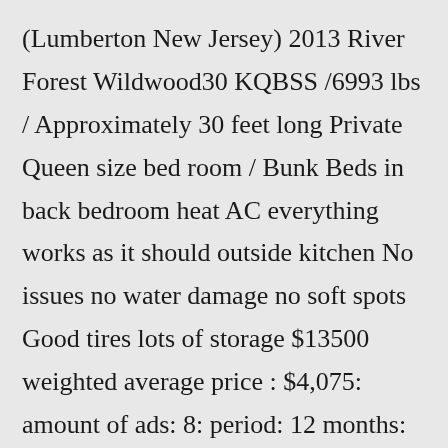(Lumberton New Jersey) 2013 River Forest Wildwood30 KQBSS /6993 lbs / Approximately 30 feet long Private Queen size bed room / Bunk Beds in back bedroom heat AC everything works as it should outside kitchen No issues no water damage no soft spots Good tires lots of storage $13500 weighted average price : $4,075: amount of ads: 8: period: 12 months: $49 Farm Mill Browse the most recent 10